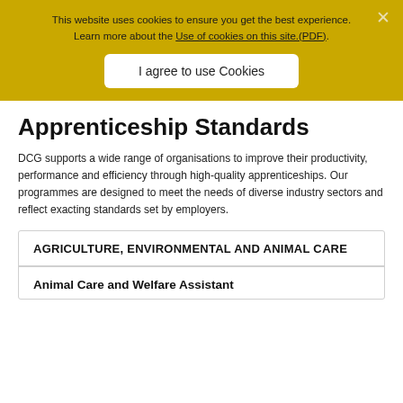This website uses cookies to ensure you get the best experience. Learn more about the Use of cookies on this site.(PDF).
I agree to use Cookies
Apprenticeship Standards
DCG supports a wide range of organisations to improve their productivity, performance and efficiency through high-quality apprenticeships. Our programmes are designed to meet the needs of diverse industry sectors and reflect exacting standards set by employers.
AGRICULTURE, ENVIRONMENTAL AND ANIMAL CARE
Animal Care and Welfare Assistant